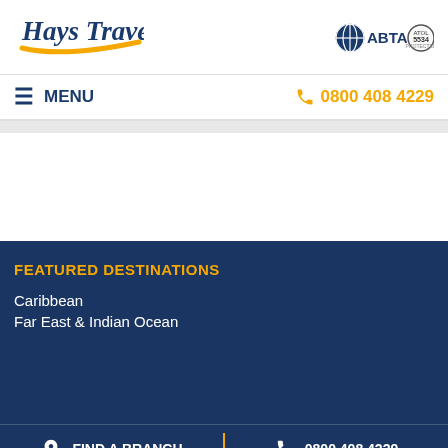Hays Travel | ABTA
≡ MENU | 📞 0800 408 4229
FEATURED DESTINATIONS
Caribbean
Far East & Indian Ocean
FIND A BRANCH | 0800 408 4229